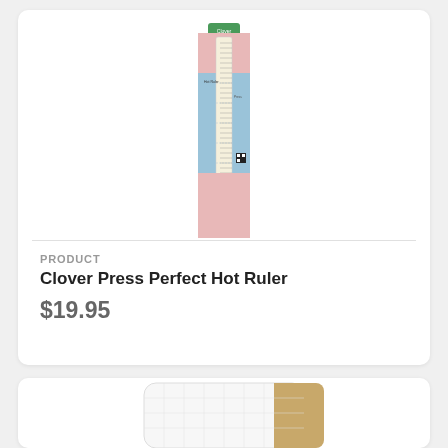[Figure (photo): Product photo of Clover Press Perfect Hot Ruler in packaging - a long narrow ruler in blue and pink retail packaging with a hanger tab]
PRODUCT
Clover Press Perfect Hot Ruler
$19.95
[Figure (photo): Partial product photo showing a white and tan/brown material item, likely a pressing mat or ironing board material, partially visible at bottom of page]